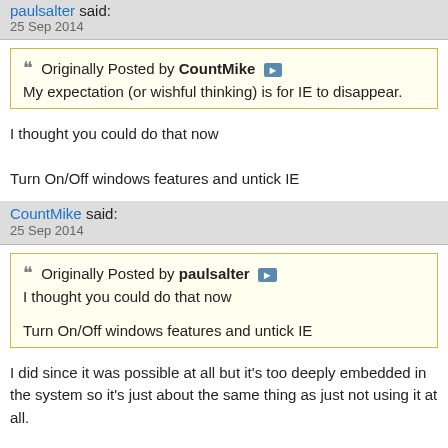paulsalter said:
25 Sep 2014
Originally Posted by CountMike
My expectation (or wishful thinking) is for IE to disappear.
I thought you could do that now

Turn On/Off windows features and untick IE
CountMike said:
25 Sep 2014
Originally Posted by paulsalter
I thought you could do that now

Turn On/Off windows features and untick IE
I did since it was possible at all but it's too deeply embedded in the system so it's just about the same thing as just not using it at all.